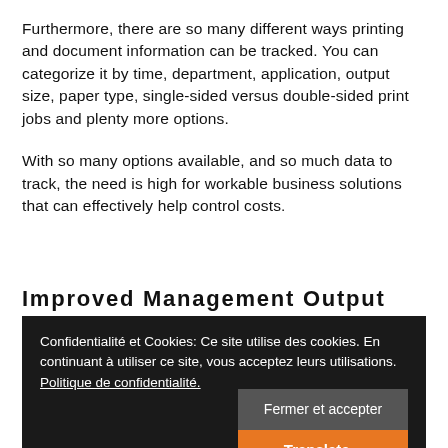Furthermore, there are so many different ways printing and document information can be tracked. You can categorize it by time, department, application, output size, paper type, single-sided versus double-sided print jobs and plenty more options.
With so many options available, and so much data to track, the need is high for workable business solutions that can effectively help control costs.
Improved Management Output
Confidentialité et Cookies: Ce site utilise des cookies. En continuant à utiliser ce site, vous acceptez leurs utilisations. Politique de confidentialité.
Fermer et accepter
Translate »